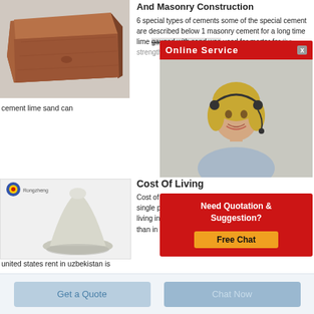[Figure (photo): Photo of a reddish-brown clay brick on a light background]
And Masonry Construction
6 special types of cements some of the special cement are described below 1 masonry cement for a long time lime gauged with sand was used for mortar for the strength and rap became common p cement with the lim
[Figure (photo): Online Service popup with a woman wearing a headset]
cement lime sand can
[Figure (photo): Photo of white powder cement product with Rongzheng brand logo]
Cost Of Living
Cost of living in uzb estimated monthly c rent a single perso are 385 68 without rent cost of living in uzbekistan is on average 61 81 lower than in
[Figure (infographic): Need Quotation & Suggestion? Free Chat popup box]
united states rent in uzbekistan is
Get a Quote
Chat Now